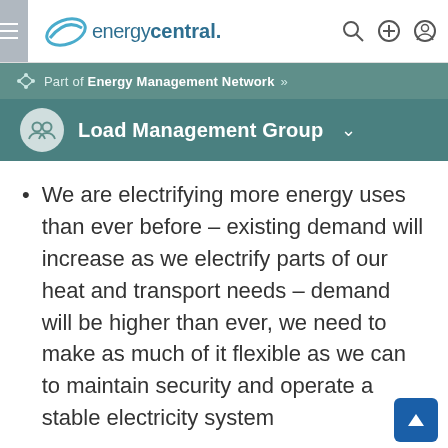energycentral.
Part of Energy Management Network »
Load Management Group
We are electrifying more energy uses than ever before – existing demand will increase as we electrify parts of our heat and transport needs – demand will be higher than ever, we need to make as much of it flexible as we can to maintain security and operate a stable electricity system